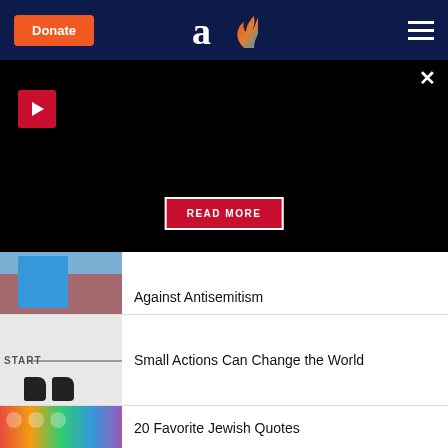Donate | Aish.com logo | Menu
[Figure (screenshot): Black promo/video area with play button, close X button, and READ MORE button]
Against Antisemitism
Small Actions Can Change the World
20 Favorite Jewish Quotes